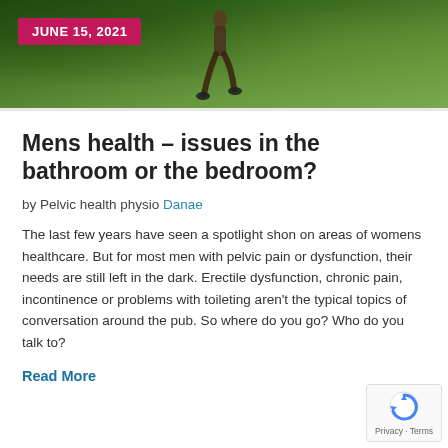[Figure (photo): Hero image of a person running/jogging on a path surrounded by green trees and foliage, viewed from behind]
JUNE 15, 2021
Mens health – issues in the bathroom or the bedroom?
by Pelvic health physio Danae
The last few years have seen a spotlight shon on areas of womens healthcare. But for most men with pelvic pain or dysfunction, their needs are still left in the dark. Erectile dysfunction, chronic pain, incontinence or problems with toileting aren't the typical topics of conversation around the pub. So where do you go? Who do you talk to?
Read More